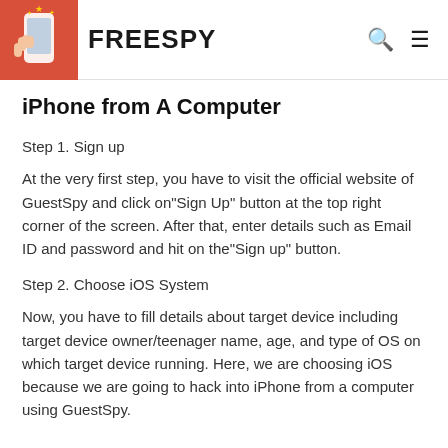FREESPY
iPhone from A Computer
Step 1. Sign up
At the very first step, you have to visit the official website of GuestSpy and click on"Sign Up" button at the top right corner of the screen. After that, enter details such as Email ID and password and hit on the"Sign up" button.
Step 2. Choose iOS System
Now, you have to fill details about target device including target device owner/teenager name, age, and type of OS on which target device running. Here, we are choosing iOS because we are going to hack into iPhone from a computer using GuestSpy.